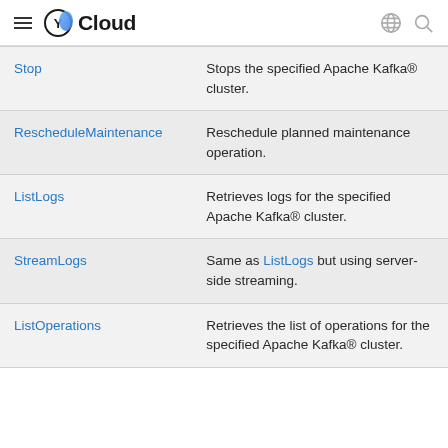Yandex Cloud
| Stop | Stops the specified Apache Kafka® cluster. |
| RescheduleMaintenance | Reschedule planned maintenance operation. |
| ListLogs | Retrieves logs for the specified Apache Kafka® cluster. |
| StreamLogs | Same as ListLogs but using server-side streaming. |
| ListOperations | Retrieves the list of operations for the specified Apache Kafka® cluster. |